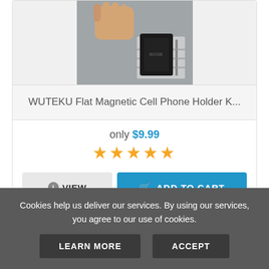[Figure (photo): A hand holding a WUTEKU flat magnetic cell phone holder near a car vent dashboard, showing the product in use.]
WUTEKU Flat Magnetic Cell Phone Holder K...
only $9.99
★★★★★
VIEW
ADD TO CART
Customer Reviews
Cookies help us deliver our services. By using our services, you agree to our use of cookies.
LEARN MORE
ACCEPT